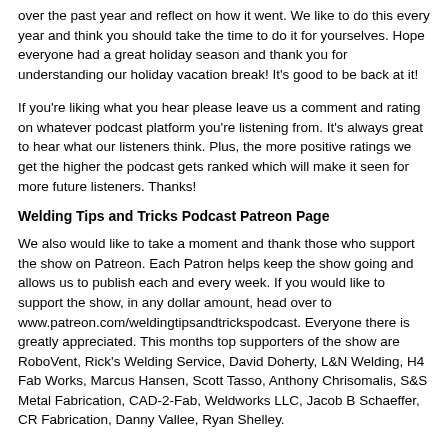over the past year and reflect on how it went.  We like to do this every year and think you should take the time to do it for yourselves.  Hope everyone had a great holiday season and thank you for understanding our holiday vacation break!  It's good to be back at it!
If you're liking what you hear please leave us a comment and rating on whatever podcast platform you're listening from.  It's always great to hear what our listeners think.  Plus, the more positive ratings we get the higher the podcast gets ranked which will make it seen for more future listeners.  Thanks!
Welding Tips and Tricks Podcast Patreon Page
We also would like to take a moment and thank those who support the show on Patreon. Each Patron helps keep the show going and allows us to publish each and every week. If you would like to support the show, in any dollar amount, head over to www.patreon.com/weldingtipsandtrickspodcast. Everyone there is greatly appreciated. This months top supporters of the show are RoboVent, Rick's Welding Service, David Doherty, L&N Welding, H4 Fab Works, Marcus Hansen, Scott Tasso, Anthony Chrisomalis, S&S Metal Fabrication, CAD-2-Fab, Weldworks LLC, Jacob B Schaeffer, CR Fabrication, Danny Vallee, Ryan Shelley.